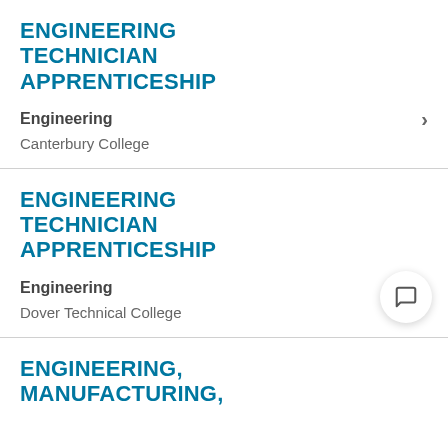ENGINEERING TECHNICIAN APPRENTICESHIP
Engineering
Canterbury College
ENGINEERING TECHNICIAN APPRENTICESHIP
Engineering
Dover Technical College
ENGINEERING, MANUFACTURING,